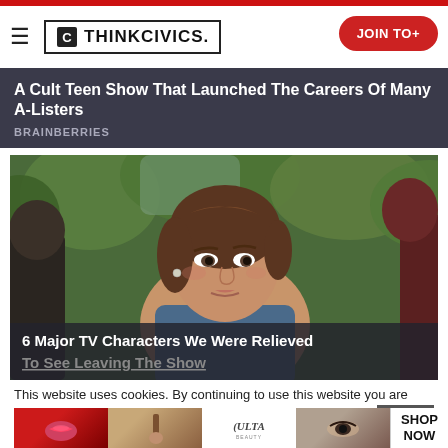THINKCIVICS. | JOIN TO+
A Cult Teen Show That Launched The Careers Of Many A-Listers
BRAINBERRIES
[Figure (photo): Woman with brown hair in a blue top, outdoors with trees in background, movie/TV still]
6 Major TV Characters We Were Relieved To See Leaving The Show
This website uses cookies. By continuing to use this website you are giving consent to cookies being used. Visit our Priv... Cookie
[Figure (photo): Ulta Beauty advertisement strip with makeup imagery and SHOP NOW button]